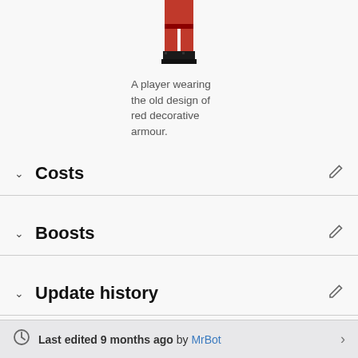[Figure (illustration): A pixel-art style game character (player) wearing red decorative armour with black boots, shown from the waist down.]
A player wearing the old design of red decorative armour.
Costs
Boosts
Update history
Last edited 9 months ago by MrBot